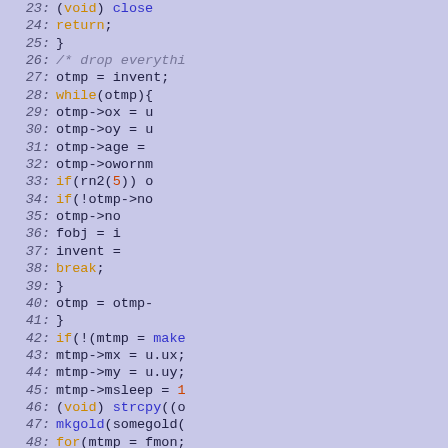[Figure (screenshot): Source code listing in C showing lines 23-52 of a program. The code involves inventory manipulation, monster/object creation loops. Syntax highlighted with keywords in orange, identifiers in dark blue/navy, comments in gray italic, numbers in red-orange. Background is light periwinkle/lavender blue.]